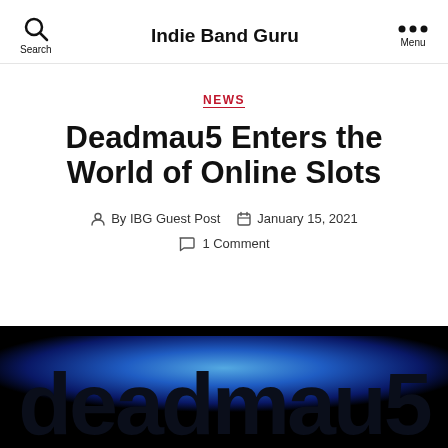Indie Band Guru
NEWS
Deadmau5 Enters the World of Online Slots
By IBG Guest Post   January 15, 2021
1 Comment
[Figure (photo): Dark image with blue glowing background and 'deadmau5' text in large dark letters]